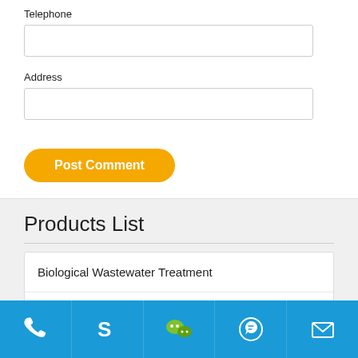Telephone
Address
Post Comment
Products List
Biological Wastewater Treatment
Plastic Pelletizing Machine
[Figure (other): Bottom navigation bar with phone, Skype, WeChat, WhatsApp, and email icons on blue background]